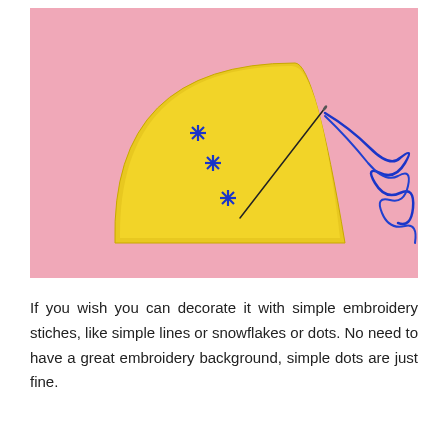[Figure (photo): A yellow fan-shaped piece of felt on a pink background, with three blue star/flower embroidery stitches sewn onto it. A sewing needle is inserted into the felt, and blue embroidery thread extends to the right side of the image forming loose loops.]
If you wish you can decorate it with simple embroidery stiches, like simple lines or snowflakes or dots. No need to have a great embroidery background, simple dots are just fine.